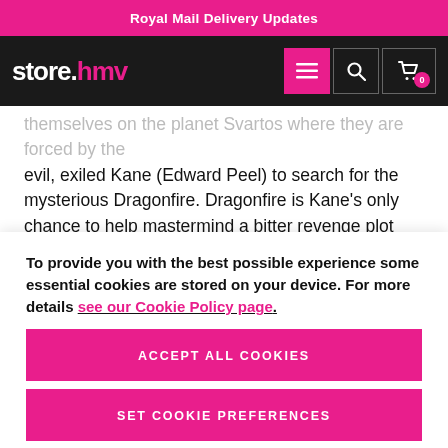Royal Mail Delivery Updates
[Figure (logo): store.hmv logo with navigation icons (hamburger menu, search, cart with 0 badge) on dark background]
themselves on the planet Svartos where they are forced by the evil, exiled Kane (Edward Peel) to search for the mysterious Dragonfire. Dragonfire is Kane's only chance to help mastermind a bitter revenge plot and escape home. In 'The Happiness Patrol' the Doctor and Ace arrive on planet Terra Alpha, ruled by Helen A (Sheila Hancock), where the inhabitants
To provide you with the best possible experience some essential cookies are stored on your device. For more details see our Cookie Policy page.
ACCEPT ALL COOKIES
SET COOKIE PREFERENCES